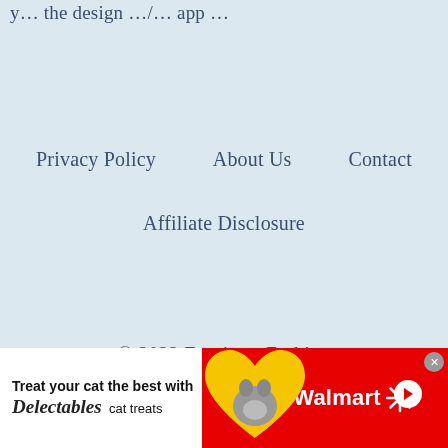y… the design … / … app …
Privacy Policy
About Us
Contact
Affiliate Disclosure
© 2022 Furniture Fashion
[Figure (photo): Walmart advertisement banner featuring Delectables cat treats with a cat image and heart graphic on red and white background]